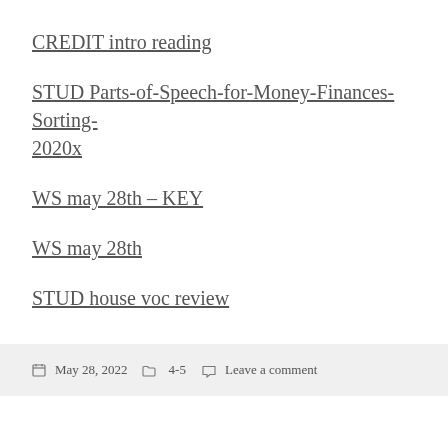CREDIT intro reading
STUD Parts-of-Speech-for-Money-Finances-Sorting-2020x
WS may 28th – KEY
WS may 28th
STUD house voc review
May 28, 2022   4-5   Leave a comment